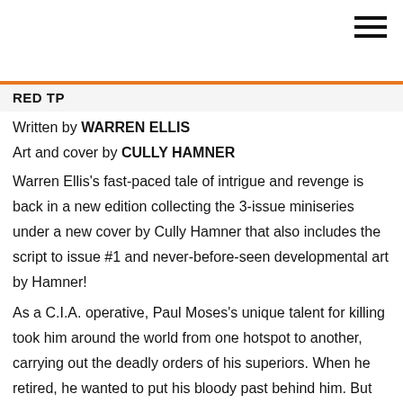RED TP
Written by WARREN ELLIS
Art and cover by CULLY HAMNER
Warren Ellis's fast-paced tale of intrigue and revenge is back in a new edition collecting the 3-issue miniseries under a new cover by Cully Hamner that also includes the script to issue #1 and never-before-seen developmental art by Hamner!
As a C.I.A. operative, Paul Moses's unique talent for killing took him around the world from one hotspot to another, carrying out the deadly orders of his superiors. When he retired, he wanted to put his bloody past behind him. But when a new administration takes over the White House, the powers that be decide that Moses knows too much, forcing him back into the game against the agency that trained him. This acclaimed